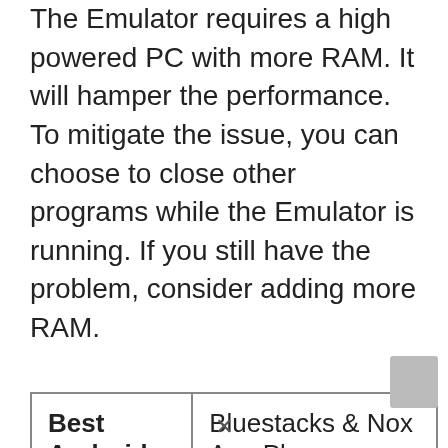The Emulator requires a high powered PC with more RAM. It will hamper the performance. To mitigate the issue, you can choose to close other programs while the Emulator is running. If you still have the problem, consider adding more RAM.
| Best Android Emulators | Bluestacks & Nox App Player |
| Operating Systems | For Windows 7,8/10 or Mac |
| App Developer | Google Commerce Ltd |